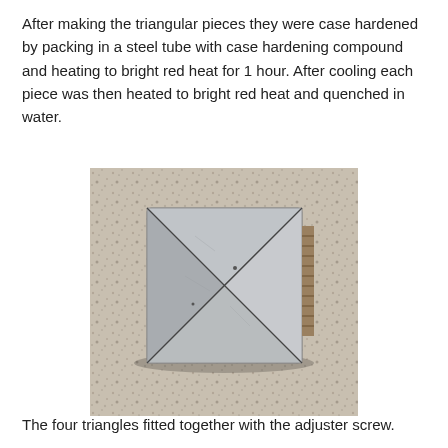After making the triangular pieces they were case hardened by packing in a steel tube with case hardening compound and heating to bright red heat for 1 hour. After cooling each piece was then heated to bright red heat and quenched in water.
[Figure (photo): Photograph of four triangular case-hardened steel pieces fitted together in a square arrangement on a granite surface, with an adjuster screw visible at the right side.]
The four triangles fitted together with the adjuster screw.